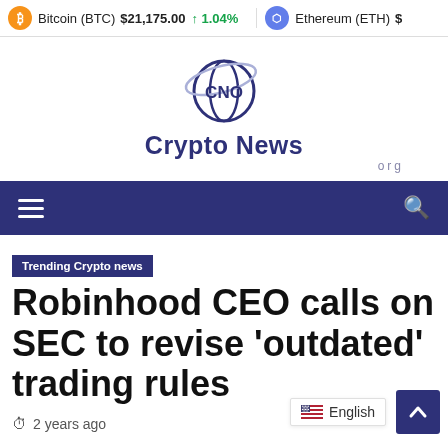Bitcoin (BTC) $21,175.00 ↑ 1.04% | Ethereum (ETH) $...
[Figure (logo): Crypto News .org logo with stylized CNO globe icon in dark blue]
Navigation bar with hamburger menu and search icon
Trending Crypto news
Robinhood CEO calls on SEC to revise 'outdated' trading rules
2 years ago
English